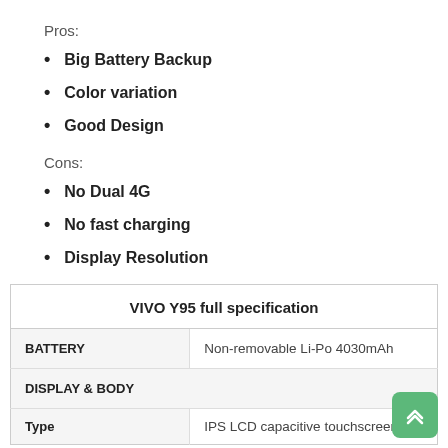Pros:
Big Battery Backup
Color variation
Good Design
Cons:
No Dual 4G
No fast charging
Display Resolution
| VIVO Y95 full specification |  |
| --- | --- |
| BATTERY | Non-removable Li-Po 4030mAh |
| DISPLAY & BODY |  |
| Type | IPS LCD capacitive touchscreen, |